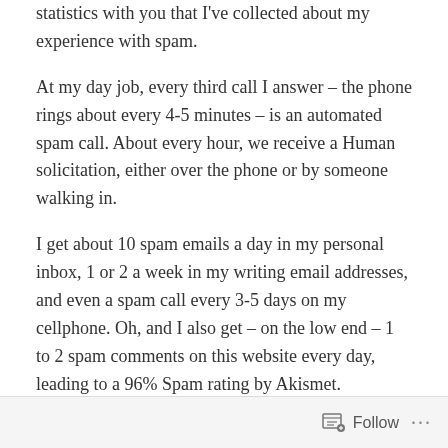statistics with you that I've collected about my experience with spam.
At my day job, every third call I answer – the phone rings about every 4-5 minutes – is an automated spam call. About every hour, we receive a Human solicitation, either over the phone or by someone walking in.
I get about 10 spam emails a day in my personal inbox, 1 or 2 a week in my writing email addresses, and even a spam call every 3-5 days on my cellphone. Oh, and I also get – on the low end – 1 to 2 spam comments on this website every day, leading to a 96% Spam rating by Akismet.
96% spam comments on this website.
Follow